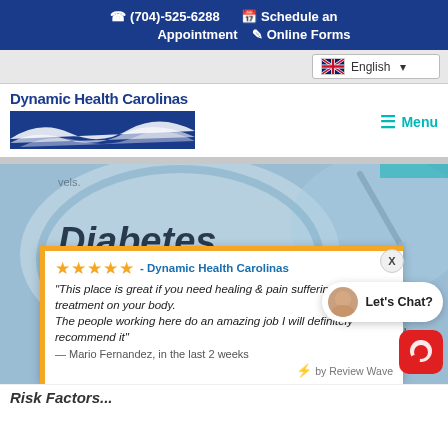(704)-525-6288 Schedule an Appointment Online Forms
English
Dynamic Health Carolinas
Menu
[Figure (photo): Medical image showing Diabetes type 2 text with stethoscope and syringe, blue toned]
★★★★★ - Dynamic Health Carolinas
"This place is great if you need healing and pain suffering for lack of treatment on your body. The people working here do an amazing job I will definitely recommend it"
— Mario Fernandez, in the last 2 weeks
⚡ by Review Wave